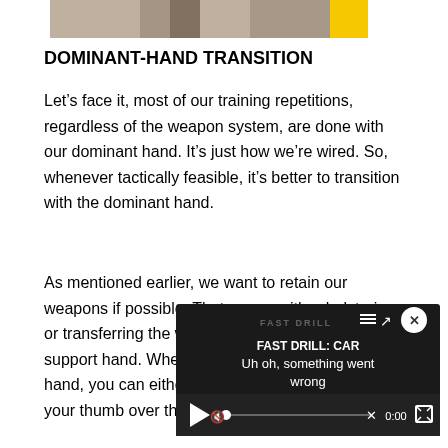[Figure (photo): Partial photo of a person with a yellow bar on the right side, cropped at the top of the page]
DOMINANT-HAND TRANSITION
Let's face it, most of our training repetitions, regardless of the weapon system, are done with our dominant hand. It's just how we're wired. So, whenever tactically feasible, it's better to transition with the dominant hand.
As mentioned earlier, we want to retain our weapons if possible. That means either holstering or transferring the weapon currently in play to the support hand. When trans[ferring to the] support hand, you can eith[er use a support] hand shooting grip or roll y[our thumb] over the top of the slide a[nd...]
[Figure (screenshot): Video player overlay showing 'FAST DRILL: CAR' title with error message 'Uh oh, something went wrong', video controls including play button, progress bar, mute icon, 0:00 timestamp, fullscreen button, close (x) button, menu and share icons. Background watermark text 'FAST DRILL'.]